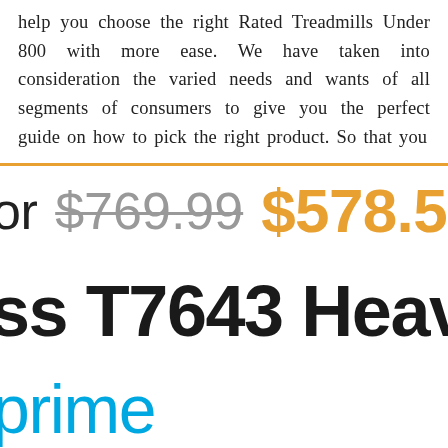help you choose the right Rated Treadmills Under 800 with more ease. We have taken into consideration the varied needs and wants of all segments of consumers to give you the perfect guide on how to pick the right product. So that you
or $769.99 $578.5
ss T7643 Heavy D
prime